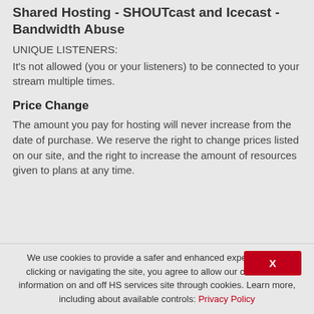Shared Hosting - SHOUTcast and Icecast - Bandwidth Abuse
UNIQUE LISTENERS:
It's not allowed (you or your listeners) to be connected to your stream multiple times.
Price Change
The amount you pay for hosting will never increase from the date of purchase. We reserve the right to change prices listed on our site, and the right to increase the amount of resources given to plans at any time.
We use cookies to provide a safer and enhanced experience. By clicking or navigating the site, you agree to allow our collection of information on and off HS services site through cookies. Learn more, including about available controls: Privacy Policy